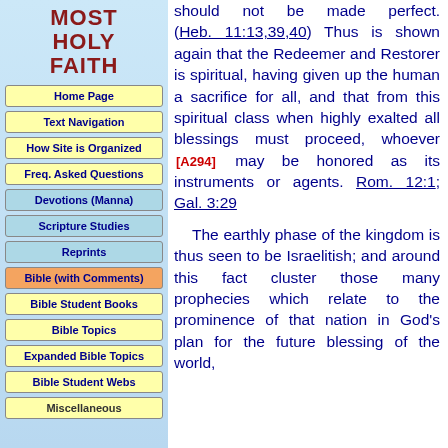MOST HOLY FAITH
Home Page
Text Navigation
How Site is Organized
Freq. Asked Questions
Devotions (Manna)
Scripture Studies
Reprints
Bible (with Comments)
Bible Student Books
Bible Topics
Expanded Bible Topics
Bible Student Webs
Miscellaneous
should not be made perfect. (Heb. 11:13,39,40) Thus is shown again that the Redeemer and Restorer is spiritual, having given up the human a sacrifice for all, and that from this spiritual class when highly exalted all blessings must proceed, whoever [A294] may be honored as its instruments or agents. Rom. 12:1; Gal. 3:29

The earthly phase of the kingdom is thus seen to be Israelitish; and around this fact cluster those many prophecies which relate to the prominence of that nation in God's plan for the future blessing of the world,